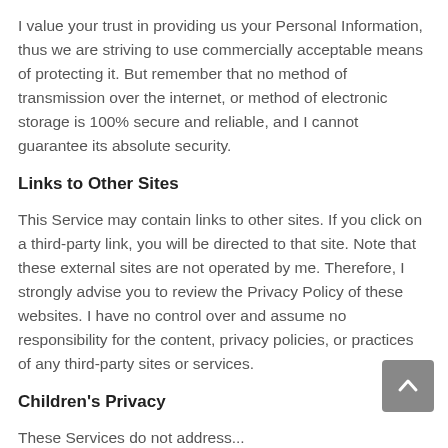I value your trust in providing us your Personal Information, thus we are striving to use commercially acceptable means of protecting it. But remember that no method of transmission over the internet, or method of electronic storage is 100% secure and reliable, and I cannot guarantee its absolute security.
Links to Other Sites
This Service may contain links to other sites. If you click on a third-party link, you will be directed to that site. Note that these external sites are not operated by me. Therefore, I strongly advise you to review the Privacy Policy of these websites. I have no control over and assume no responsibility for the content, privacy policies, or practices of any third-party sites or services.
Children's Privacy
These Services do not address...